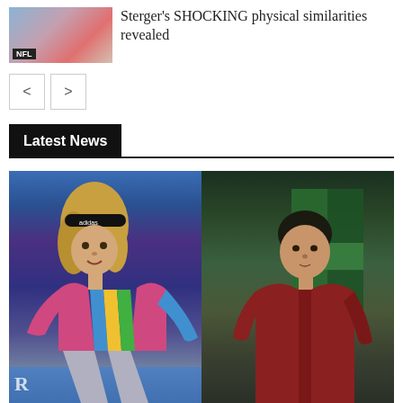[Figure (photo): Thumbnail image of two women with NFL badge overlay in bottom-left corner]
Sterger's SHOCKING physical similarities revealed
Latest News
[Figure (photo): Side-by-side photo of two male tennis players: left player wearing colorful outfit and headband mid-action on court; right player in dark red shirt looking over shoulder in front of green backdrop]